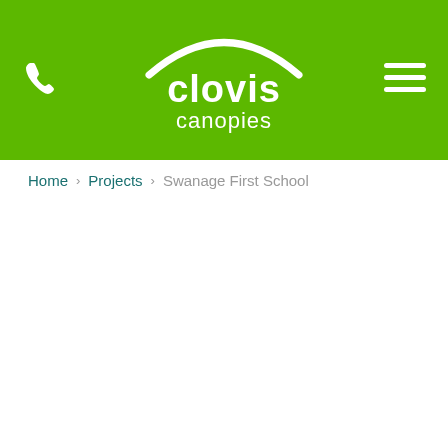clovis canopies
Home › Projects › Swanage First School